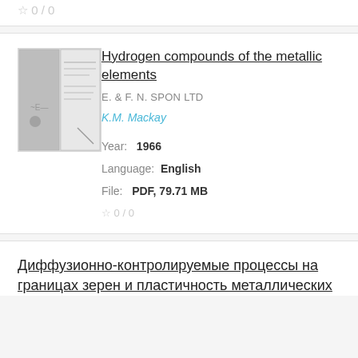☆ 0 / 0
[Figure (photo): Thumbnail of book cover for 'Hydrogen compounds of the metallic elements']
Hydrogen compounds of the metallic elements
E. & F. N. SPON LTD
K.M. Mackay
Year:  1966
Language:  English
File:  PDF, 79.71 MB
☆ 0 / 0
Диффузионно-контролируемые процессы на границах зерен и пластичность металлических